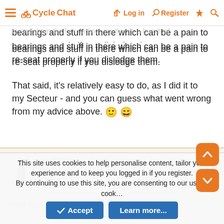CycleChat — Log in | Register
...bearings and stuff in there which can be a pain to re-seat properly if you dislodge them.
That said, it's relatively easy to do, as I did it to my Secteur - and you can guess what went wrong from my advice above. 🙂 😄
e-rider
crappy member
25 Jul 2010
This site uses cookies to help personalise content, tailor your experience and to keep you logged in if you register.
By continuing to use this site, you are consenting to our use of cookies.